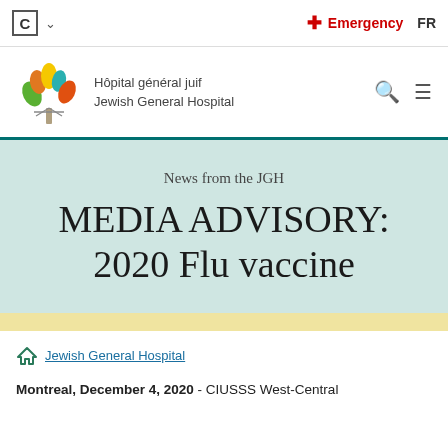C ▾   Emergency   FR
[Figure (logo): Jewish General Hospital logo — colorful tree with leaves in green, orange, yellow, blue — beside text: Hôpital général juif / Jewish General Hospital]
News from the JGH
MEDIA ADVISORY: 2020 Flu vaccine
Jewish General Hospital
Montreal, December 4, 2020 - CIUSSS West-Central